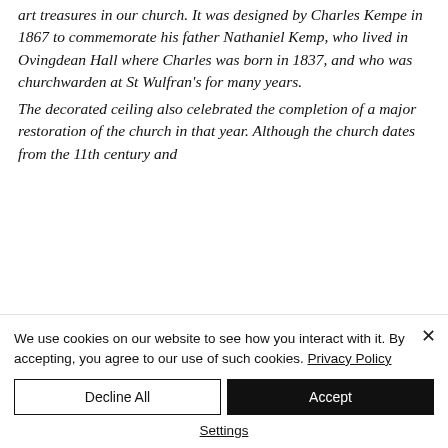art treasures in our church. It was designed by Charles Kempe in 1867 to commemorate his father Nathaniel Kemp, who lived in Ovingdean Hall where Charles was born in 1837, and who was churchwarden at St Wulfran's for many years. The decorated ceiling also celebrated the completion of a major restoration of the church in that year. Although the church dates from the 11th century and
We use cookies on our website to see how you interact with it. By accepting, you agree to our use of such cookies. Privacy Policy
Decline All
Accept
Settings